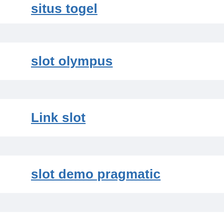situs togel
slot olympus
Link slot
slot demo pragmatic
rtp live pragmatic